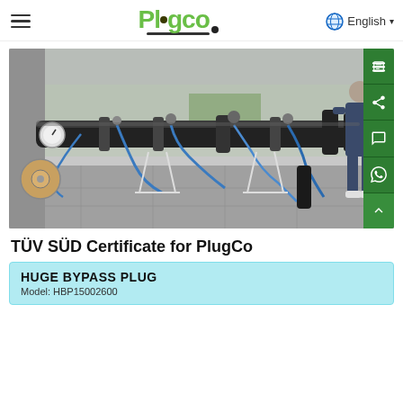≡  Plugco  English ▾
[Figure (photo): Large industrial pipe plug testing equipment laid out horizontally on a factory floor, connected with blue hoses and pneumatic fittings. A person in a blue jacket stands to the right observing the apparatus.]
TÜV SÜD Certificate for PlugCo
HUGE BYPASS PLUG
Model: HBP15002600